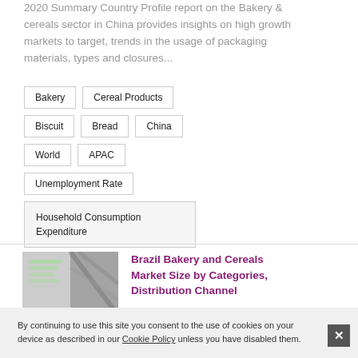2020 Summary Country Profile report on the Bakery & cereals sector in China provides insights on high growth markets to target, trends in the usage of packaging materials, types and closures...
Bakery
Cereal Products
Biscuit
Bread
China
World
APAC
Unemployment Rate
Household Consumption Expenditure
[Figure (photo): Thumbnail image for Brazil Bakery and Cereals report]
Brazil Bakery and Cereals Market Size by Categories, Distribution Channel
By continuing to use this site you consent to the use of cookies on your device as described in our Cookie Policy unless you have disabled them.